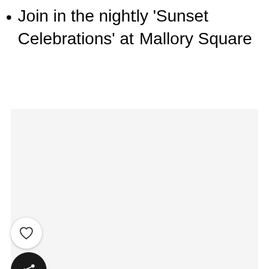Join in the nightly ‘Sunset Celebrations’ at Mallory Square
[Figure (photo): A large light gray rectangular image placeholder area]